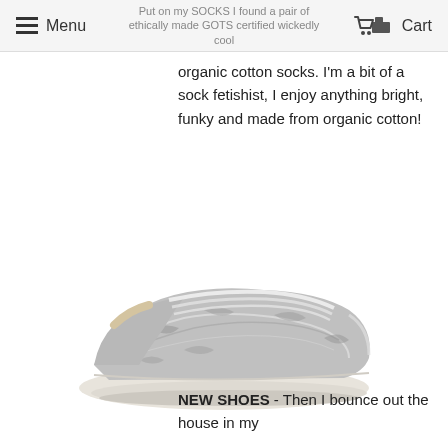Menu | Cart
organic cotton socks. I'm a bit of a sock fetishist, I enjoy anything bright, funky and made from organic cotton!
[Figure (photo): A silver metallic crinkle-leather low-top sneaker with white laces and a cream/white rubber sole, photographed on a white background in side profile.]
NEW SHOES - Then I bounce out the house in my